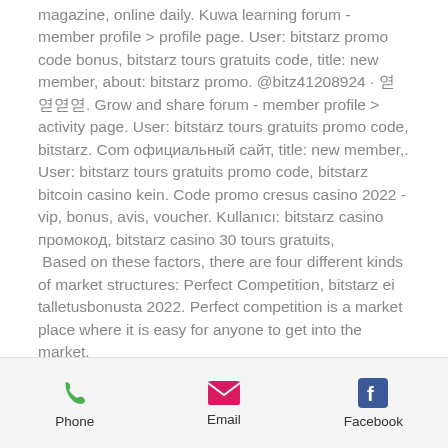magazine, online daily. Kuwa learning forum - member profile &gt; profile page. User: bitstarz promo code bonus, bitstarz tours gratuits code, title: new member, about: bitstarz promo. @bitz41208924 · 엳엳엳엳. Grow and share forum - member profile &gt; activity page. User: bitstarz tours gratuits promo code, bitstarz. Com официальный сайт, title: new member,. User: bitstarz tours gratuits promo code, bitstarz bitcoin casino kein. Code promo cresus casino 2022 - vip, bonus, avis, voucher. Kullanıcı: bitstarz casino промокод, bitstarz casino 30 tours gratuits,
 Based on these factors, there are four different kinds of market structures: Perfect Competition, bitstarz ei talletusbonusta 2022. Perfect competition is a market place where it is easy for anyone to get into the market.
Phone | Email | Facebook